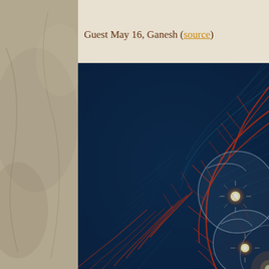Guest May 16, Ganesh (source)
[Figure (illustration): Fractal digital art image on dark blue background with red/orange branching vein-like patterns and glowing spherical orbs with light flares in the lower right area, resembling a cosmic or biological fractal structure.]